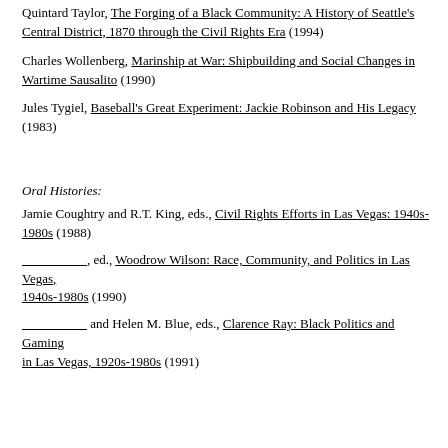Quintard Taylor, The Forging of a Black Community: A History of Seattle's Central District, 1870 through the Civil Rights Era (1994)
Charles Wollenberg, Marinship at War: Shipbuilding and Social Changes in Wartime Sausalito (1990)
Jules Tygiel, Baseball's Great Experiment: Jackie Robinson and His Legacy (1983)
Oral Histories:
Jamie Coughtry and R.T. King, eds., Civil Rights Efforts in Las Vegas: 1940s-1980s (1988)
__________, ed., Woodrow Wilson: Race, Community, and Politics in Las Vegas, 1940s-1980s (1990)
__________ and Helen M. Blue, eds., Clarence Ray: Black Politics and Gaming in Las Vegas, 1920s-1980s (1991)